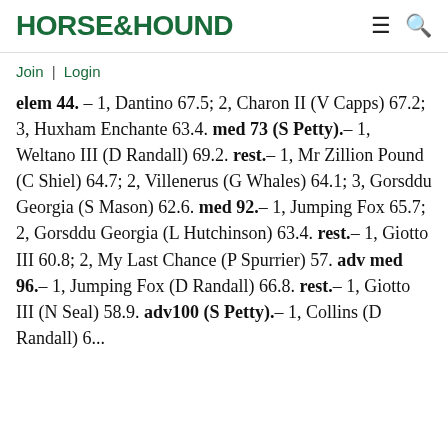HORSE&HOUND
Join | Login
elem 44. – 1, Dantino 67.5; 2, Charon II (V Capps) 67.2; 3, Huxham Enchante 63.4. med 73 (S Petty).– 1, Weltano III (D Randall) 69.2. rest.– 1, Mr Zillion Pound (C Shiel) 64.7; 2, Villenerus (G Whales) 64.1; 3, Gorsddu Georgia (S Mason) 62.6. med 92.– 1, Jumping Fox 65.7; 2, Gorsddu Georgia (L Hutchinson) 63.4. rest.– 1, Giotto III 60.8; 2, My Last Chance (P Spurrier) 57. adv med 96.– 1, Jumping Fox (D Randall) 66.8. rest.– 1, Giotto III (N Seal) 58.9. adv100 (S Petty)– 1, Collins (D Randall) 6...